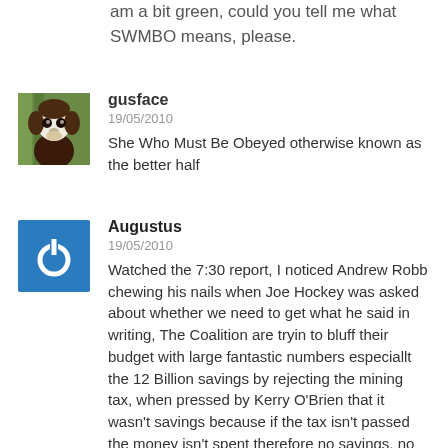am a bit green, could you tell me what SWMBO means, please.
gusface
19/05/2010
She Who Must Be Obeyed otherwise known as the better half
Augustus
19/05/2010
Watched the 7:30 report, I noticed Andrew Robb chewing his nails when Joe Hockey was asked about whether we need to get what he said in writing, The Coalition are tryin to bluff their budget with large fantastic numbers especiallt the 12 Billion savings by rejecting the mining tax, when pressed by Kerry O'Brien that it wasn't savings because if the tax isn't passed the money isn't spent therefore no savings, no wonder Hockey didn't want the press to have the figures, too many uncomfortable questions to